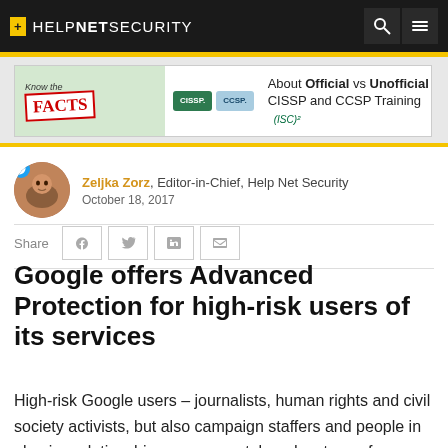HELPNETSECURITY
[Figure (other): Advertisement banner: Know the FACTS – About Official vs Unofficial CISSP and CCSP Training (ISC)²]
Zeljka Zorz, Editor-in-Chief, Help Net Security
October 18, 2017
Share
Google offers Advanced Protection for high-risk users of its services
High-risk Google users – journalists, human rights and civil society activists, but also campaign staffers and people in abusive relationships – can now take advantage of